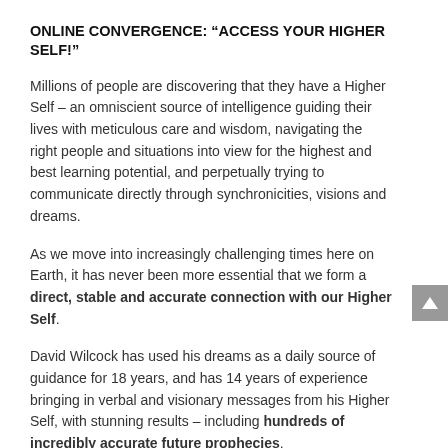ONLINE CONVERGENCE: “ACCESS YOUR HIGHER SELF!”
Millions of people are discovering that they have a Higher Self – an omniscient source of intelligence guiding their lives with meticulous care and wisdom, navigating the right people and situations into view for the highest and best learning potential, and perpetually trying to communicate directly through synchronicities, visions and dreams.
As we move into increasingly challenging times here on Earth, it has never been more essential that we form a direct, stable and accurate connection with our Higher Self.
David Wilcock has used his dreams as a daily source of guidance for 18 years, and has 14 years of experience bringing in verbal and visionary messages from his Higher Self, with stunning results – including hundreds of incredibly accurate future prophecies.